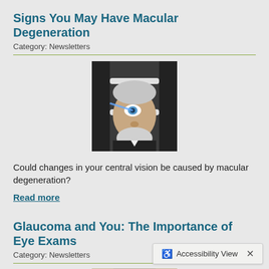Signs You May Have Macular Degeneration
Category: Newsletters
[Figure (photo): Elderly man having his eyes examined with medical ophthalmic equipment, head resting on chin rest with blue light visible]
Could changes in your central vision be caused by macular degeneration?
Read more
Glaucoma and You: The Importance of Eye Exams
Category: Newsletters
[Figure (photo): Elderly person looking through eyeglasses, partially cropped at bottom of page]
Accessibility View